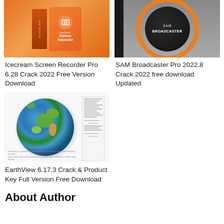[Figure (screenshot): Icecream Screen Recorder Pro software box art on orange background]
[Figure (screenshot): SAM Broadcaster Pro logo with black circle and orange ring on gray background]
Icecream Screen Recorder Pro 6.28 Crack 2022 Free Version Download
SAM Broadcaster Pro 2022.8 Crack 2022 free download Updated
[Figure (screenshot): EarthView globe desktop wallpaper software showing Earth globe with document sidebar]
EarthView 6.17.3 Crack & Product Key Full Version Free Download
About Author